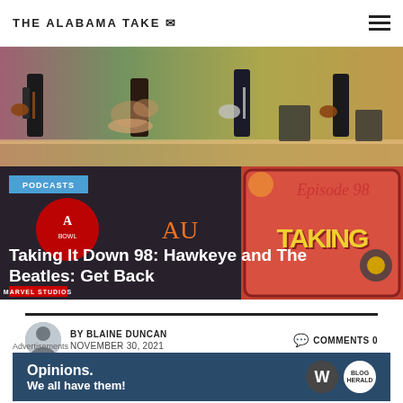THE ALABAMA TAKE
[Figure (photo): Band performing on stage — four musicians with guitars and drums against colorful background]
[Figure (photo): Podcast card with sports logos, PODCASTS badge, Episode 98 label, title Taking It Down 98: Hawkeye and The Beatles: Get Back, Marvel Studios logo, and TAKING IT DOWN retro logo on right]
Taking It Down 98: Hawkeye and The Beatles: Get Back
BY BLAINE DUNCAN
NOVEMBER 30, 2021
COMMENTS 0
[Figure (other): Audio player with play button, 00:00 start time, progress bar, 00:00 end time, and close button]
Advertisements
[Figure (other): Advertisement banner: Opinions. We all have them! with WordPress and another logo]